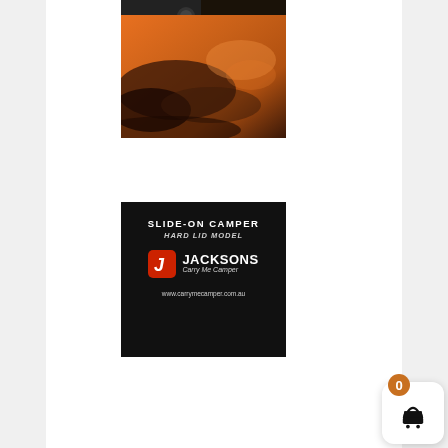[Figure (photo): A vehicle on orange sand dunes in an outback/desert setting, showing red-orange sand and dark shadows]
[Figure (logo): Jacksons Carry Me Camper logo on black background. Text reads: SLIDE-ON CAMPER, HARD LID MODEL, JACKSONS Carry Me Camper, www.carrymecamper.com.au]
[Figure (infographic): Shopping cart button with orange badge showing 0 and a basket icon]